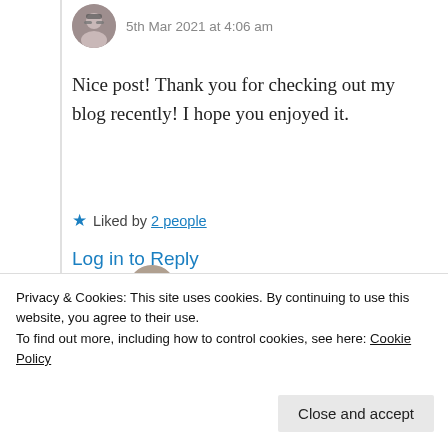5th Mar 2021 at 4:06 am
Nice post! Thank you for checking out my blog recently! I hope you enjoyed it.
Liked by 2 people
Log in to Reply
Suma Reddy
Privacy & Cookies: This site uses cookies. By continuing to use this website, you agree to their use.
To find out more, including how to control cookies, see here: Cookie Policy
Close and accept